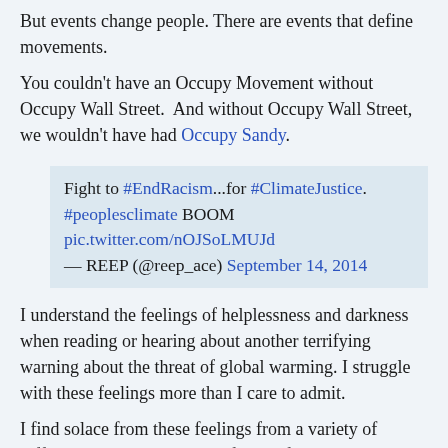But events change people. There are events that define movements.
You couldn't have an Occupy Movement without Occupy Wall Street.  And without Occupy Wall Street, we wouldn't have had Occupy Sandy.
Fight to #EndRacism...for #ClimateJustice. #peoplesclimate BOOM pic.twitter.com/nOJSoLMUJd — REEP (@reep_ace) September 14, 2014
I understand the feelings of helplessness and darkness when reading or hearing about another terrifying warning about the threat of global warming. I struggle with these feelings more than I care to admit.
I find solace from these feelings from a variety of different sources beyond my family, friends and community.  Of these, the study of history oddly enough, gives me great comfort.  It has helped me